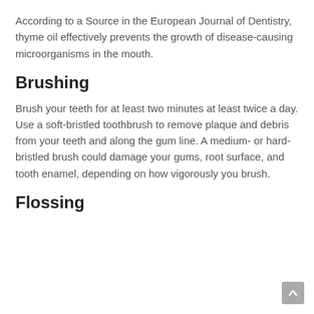According to a Source in the European Journal of Dentistry, thyme oil effectively prevents the growth of disease-causing microorganisms in the mouth.
Brushing
Brush your teeth for at least two minutes at least twice a day. Use a soft-bristled toothbrush to remove plaque and debris from your teeth and along the gum line. A medium- or hard-bristled brush could damage your gums, root surface, and tooth enamel, depending on how vigorously you brush.
Flossing